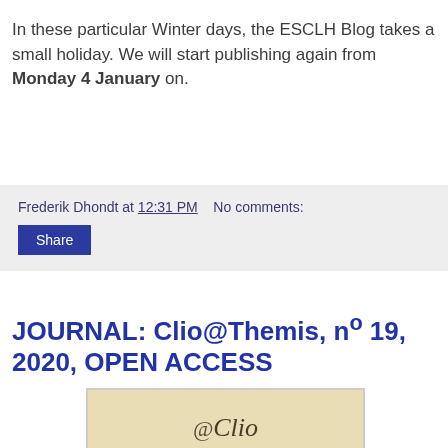In these particular Winter days, the ESCLH Blog takes a small holiday. We will start publishing again from Monday 4 January on.
Frederik Dhondt at 12:31 PM   No comments:
Share
JOURNAL: Clio@Themis, nº 19, 2020, OPEN ACCESS
[Figure (illustration): Cover of Clio@Themis journal showing the journal logo with '@Clio Themis' text and subtitle 'Revue électronique d'Histoire du droit' on a beige/cream background]